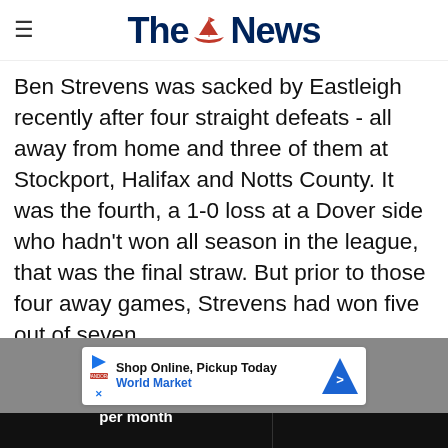The News
Ben Strevens was sacked by Eastleigh recently after four straight defeats - all away from home and three of them at Stockport, Halifax and Notts County. It was the fourth, a 1-0 loss at a Dover side who hadn't won all season in the league, that was the final straw. But prior to those four away games, Strevens had won five out of seven.
[Figure (other): Advertisement banner: Shop Online, Pickup Today - World Market]
Of co...
Exclusive Pompey news for just £2 per month | Find out more